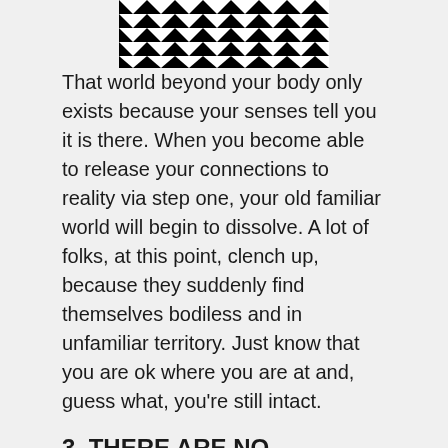[Figure (illustration): Black and white optical illusion pattern with zigzag chevron lines forming a hypnotic geometric design]
That world beyond your body only exists because your senses tell you it is there. When you become able to release your connections to reality via step one, your old familiar world will begin to dissolve. A lot of folks, at this point, clench up, because they suddenly find themselves bodiless and in unfamiliar territory. Just know that you are ok where you are at and, guess what, you're still intact.
3. THERE ARE NO ACCIDENTS
Nothing in your life has ever happened by accident; even if it is